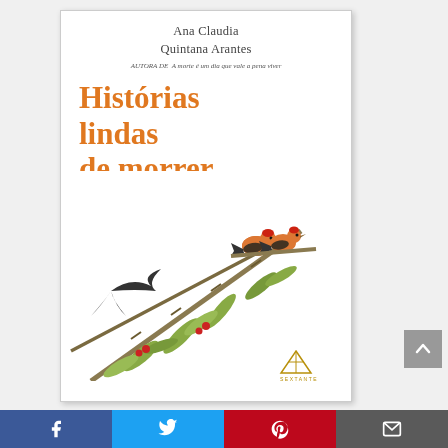[Figure (illustration): Book cover of 'Histórias lindas de morrer' by Ana Claudia Quintana Arantes, published by Sextante. Cover features orange title text and a watercolor-style illustration of birds on bamboo branches.]
Histórias lindas de morrer
[Figure (other): Social share bar with Facebook, Twitter, Pinterest, and email icons]